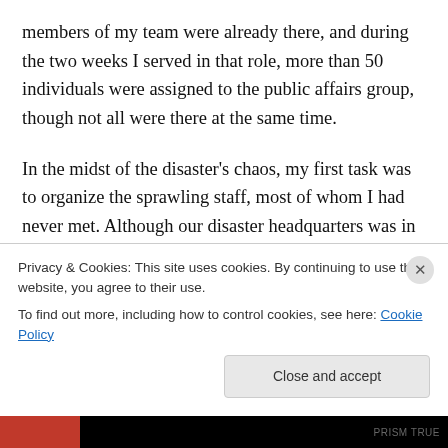members of my team were already there, and during the two weeks I served in that role, more than 50 individuals were assigned to the public affairs group, though not all were there at the same time.
In the midst of the disaster's chaos, my first task was to organize the sprawling staff, most of whom I had never met. Although our disaster headquarters was in New York City, our job was more difficult because we had crews spread out in each of the five NYC boroughs and on Long Island. Their varied assignments included handling media
Privacy & Cookies: This site uses cookies. By continuing to use this website, you agree to their use.
To find out more, including how to control cookies, see here: Cookie Policy
Close and accept